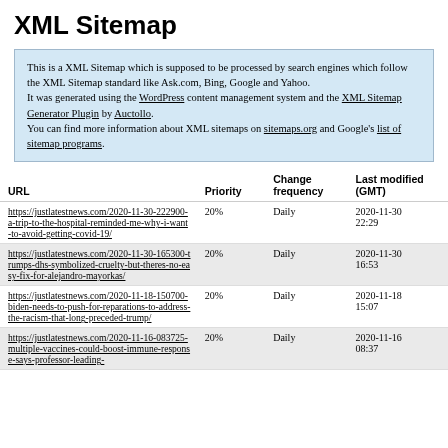XML Sitemap
This is a XML Sitemap which is supposed to be processed by search engines which follow the XML Sitemap standard like Ask.com, Bing, Google and Yahoo.
It was generated using the WordPress content management system and the XML Sitemap Generator Plugin by Auctollo.
You can find more information about XML sitemaps on sitemaps.org and Google's list of sitemap programs.
| URL | Priority | Change frequency | Last modified (GMT) |
| --- | --- | --- | --- |
| https://justlatestnews.com/2020-11-30-222900-a-trip-to-the-hospital-reminded-me-why-i-want-to-avoid-getting-covid-19/ | 20% | Daily | 2020-11-30 22:29 |
| https://justlatestnews.com/2020-11-30-165300-trumps-dhs-symbolized-cruelty-but-theres-no-easy-fix-for-alejandro-mayorkas/ | 20% | Daily | 2020-11-30 16:53 |
| https://justlatestnews.com/2020-11-18-150700-biden-needs-to-push-for-reparations-to-address-the-racism-that-long-preceded-trump/ | 20% | Daily | 2020-11-18 15:07 |
| https://justlatestnews.com/2020-11-16-083725-multiple-vaccines-could-boost-immune-response-says-professor-leading-... | 20% | Daily | 2020-11-16 08:37 |